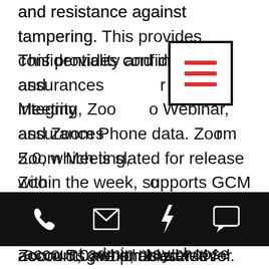and resistance against tampering. This provides confidentiality and integrity assurances for Zoom Meeting, Zoom Video Webinar, and Zoom Phone data. Zoom 5.0, which is slated for release within the week, supports GCM encryption, and this standard will take effect once all accounts are enabled with GCM. System-wide account enablement will take place on May 30.
[Figure (other): Hamburger menu icon: three horizontal red lines inside a black border square]
Data routing control: The account admin may choose which data center regions their account-
[Figure (screenshot): Mobile app bottom navigation bar with phone, email, lightning bolt, and chat icons on black background]
account, group, or user level.